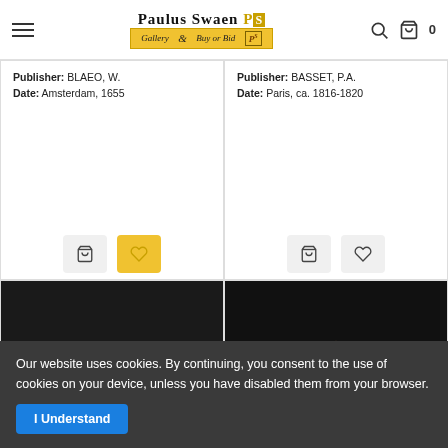Paulus Swaen Gallery & Buy or Bid
Publisher: BLAEO, W.
Date: Amsterdam, 1655
Publisher: BASSET, P.A.
Date: Paris, ca. 1816-1820
[Figure (photo): Decorative hand fan with painted cherubs and floral motifs, white sticks, black background]
[Figure (photo): Decorative hand fan with intricate lace-like black pattern and oval portrait medallions, dark background]
Our website uses cookies. By continuing, you consent to the use of cookies on your device, unless you have disabled them from your browser.